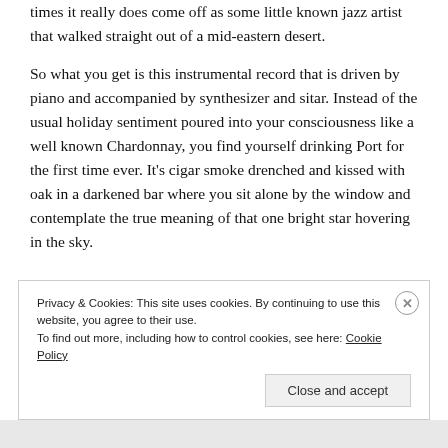times it really does come off as some little known jazz artist that walked straight out of a mid-eastern desert.
So what you get is this instrumental record that is driven by piano and accompanied by synthesizer and sitar. Instead of the usual holiday sentiment poured into your consciousness like a well known Chardonnay, you find yourself drinking Port for the first time ever. It’s cigar smoke drenched and kissed with oak in a darkened bar where you sit alone by the window and contemplate the true meaning of that one bright star hovering in the sky.
Privacy & Cookies: This site uses cookies. By continuing to use this website, you agree to their use.
To find out more, including how to control cookies, see here: Cookie Policy
Close and accept